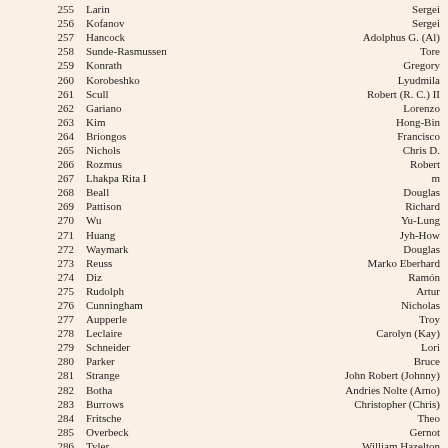| # | Last Name | First Name |
| --- | --- | --- |
| 255 | Larin | Sergei |
| 256 | Kofanov | Sergei |
| 257 | Hancock | Adolphus G. (Al) |
| 258 | Sunde-Rasmussen | Tore |
| 259 | Konrath | Gregory |
| 260 | Korobeshko | Lyudmila |
| 261 | Scull | Robert (R. C.) II |
| 262 | Gariano | Lorenzo |
| 263 | Kim | Hong-Bin |
| 264 | Briongos | Francisco |
| 265 | Nichols | Chris D. |
| 266 | Rozmus | Robert |
| 267 | Lhakpa Rita I | m |
| 268 | Beall | Douglas |
| 269 | Pattison | Richard |
| 270 | Wu | Yu-Lung |
| 271 | Huang | Jyh-How |
| 272 | Waymark | Douglas |
| 273 | Reuss | Marko Eberhard |
| 274 | Diz | Ramón |
| 275 | Rudolph | Artur |
| 276 | Cunningham | Nicholas |
| 277 | Aupperle | Troy |
| 278 | Leclaire | Carolyn (Kay) |
| 279 | Schneider | Lori |
| 280 | Parker | Bruce |
| 281 | Strange | John Robert (Johnny) |
| 282 | Botha | Andries Nolte (Arno) |
| 283 | Burrows | Christopher (Chris) |
| 284 | Fritsche | Theo |
| 285 | Overbeck | Gernot |
| 286 | Tyler | William Hazelton |
| 287 | Thivierge | François Guy |
| 288 | Hawrylewicz | Jaroslaw C. |
| 289 | Fasching | Wolfgang |
| 290 | Hanna | Noel Richmond |
| 291 | Collinson | John Carl (Johnny) |
| 292 | Wojciechowska | Marta Eliza (Martyna) |
| 293 | Heider | Rupert Michael |
| 294 | Soria Fontán | Carlos |
| 295 | Feijoo | Jesús (Josu) |
| 296 | Valette | Jean-Michel |
| 297 | Arayama | Takao |
| 298 | Bosch | Albert |
| 299 | Ramsden | Amanda (Mandy) |